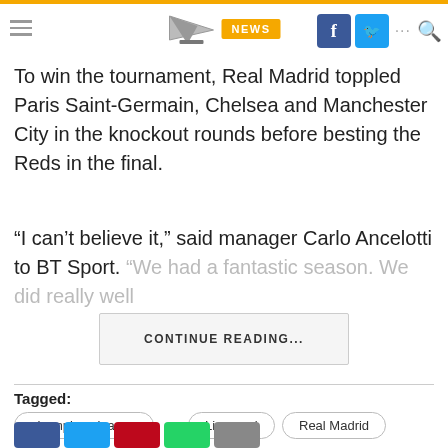NEWS
To win the tournament, Real Madrid toppled Paris Saint-Germain, Chelsea and Manchester City in the knockout rounds before besting the Reds in the final.
“I can’t believe it,” said manager Carlo Ancelotti to BT Sport. “We had a fantastic season. We did really well…
CONTINUE READING...
Tagged:
champions league
Liverpool
Real Madrid